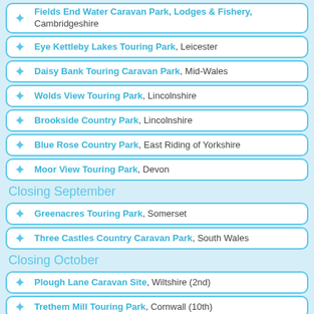Fields End Water Caravan Park, Lodges & Fishery, Cambridgeshire
Eye Kettleby Lakes Touring Park, Leicester
Daisy Bank Touring Caravan Park, Mid-Wales
Wolds View Touring Park, Lincolnshire
Brookside Country Park, Lincolnshire
Blue Rose Country Park, East Riding of Yorkshire
Moor View Touring Park, Devon
Closing September
Greenacres Touring Park, Somerset
Three Castles Country Caravan Park, South Wales
Closing October
Plough Lane Caravan Site, Wiltshire (2nd)
Trethem Mill Touring Park, Cornwall (10th)